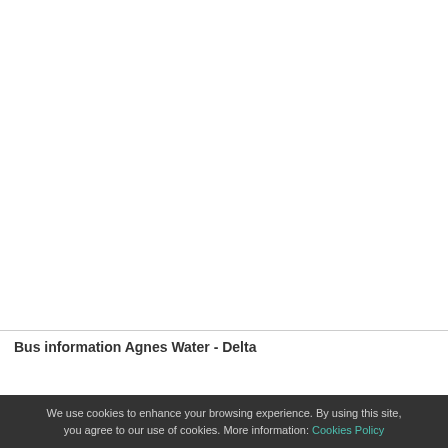Bus information Agnes Water - Delta
We use cookies to enhance your browsing experience. By using this site, you agree to our use of cookies. More information: Cookies Policy